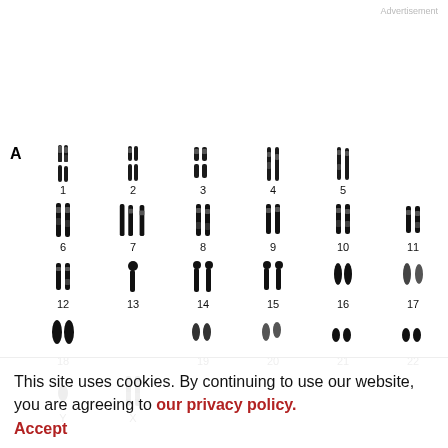Advertisement
[Figure (illustration): Karyotype panel A showing human chromosomes 1-22, X, and Y arranged in numbered pairs on a white background, with each chromosome pair shown as dark banded images typical of G-banding.]
This site uses cookies. By continuing to use our website, you are agreeing to our privacy policy.
Accept